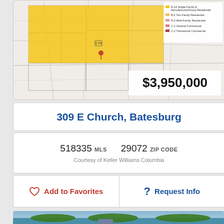[Figure (map): Zoning map of Batesburg area with yellow highlighted parcels and legend showing R-1A Single Family & Manufactured/Group Residential, B-2 Two Family Residential, R-3 Multi-Family Residential, C-1 General Commercial, C-2 Transitional Commercial. Price overlay shows $3,950,000.]
309 E Church, Batesburg
518335 MLS   29072 ZIP CODE
Courtesy of Keller Williams Columbia
Add to Favorites
Request Info
[Figure (photo): Aerial photograph of a lakeside property with a large house surrounded by trees on a peninsula, with blue water and cloudy sky in background.]